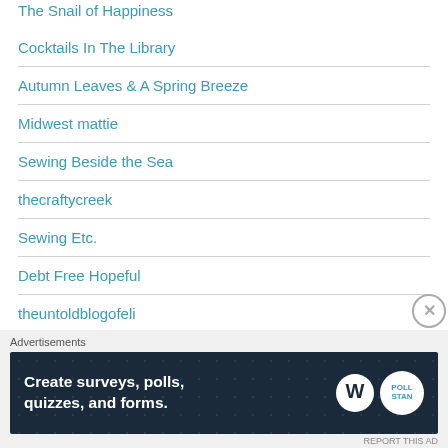The Snail of Happiness
Cocktails In The Library
Autumn Leaves & A Spring Breeze
Midwest mattie
Sewing Beside the Sea
thecraftycreek
Sewing Etc.
Debt Free Hopeful
theuntoldblogofeli
Advertisements
[Figure (infographic): Advertisement banner: Create surveys, polls, quizzes, and forms. WordPress and Poll logos shown on dark navy background with dot pattern.]